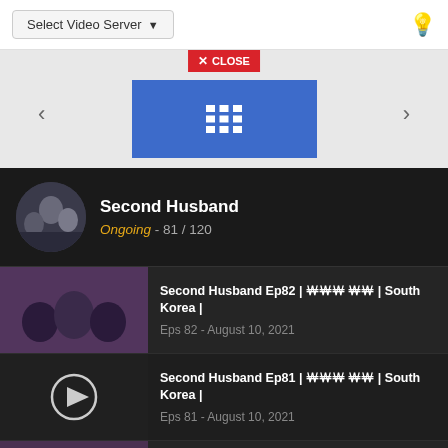Select Video Server
[Figure (screenshot): Video player area with Close button, blue grid icon panel, and left/right arrows]
Second Husband
Ongoing - 81 / 120
Second Husband Ep82 | 두 번째 남편 | South Korea |
Eps 82 - August 10, 2021
Second Husband Ep81 | 두 번째 남편 | South Korea |
Eps 81 - August 10, 2021
Second Husband Ep80 | 두 번째 남편 | South Korea |